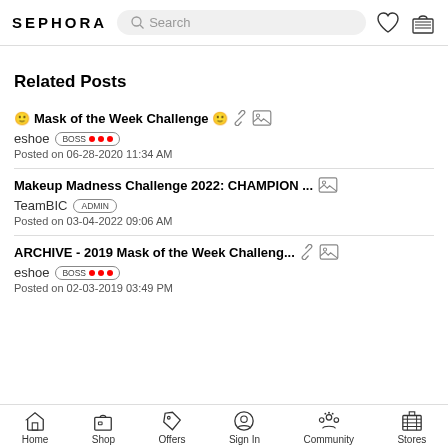SEPHORA — Search bar, heart icon, basket icon
Related Posts
🙂 Mask of the Week Challenge 🙂 — eshoe BOSS III — Posted on 06-28-2020 11:34 AM
Makeup Madness Challenge 2022: CHAMPION ... — TeamBIC ADMIN — Posted on 03-04-2022 09:06 AM
ARCHIVE - 2019 Mask of the Week Challeng... — eshoe BOSS III — Posted on 02-03-2019 03:49 PM
Home  Shop  Offers  Sign In  Community  Stores